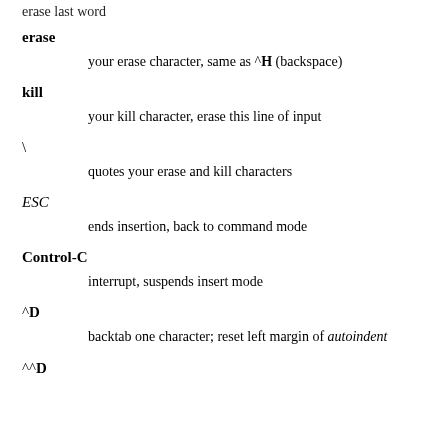erase last word
erase — your erase character, same as ^H (backspace)
kill — your kill character, erase this line of input
\ — quotes your erase and kill characters
ESC — ends insertion, back to command mode
Control-C — interrupt, suspends insert mode
^D — backtab one character; reset left margin of autoindent
^^D